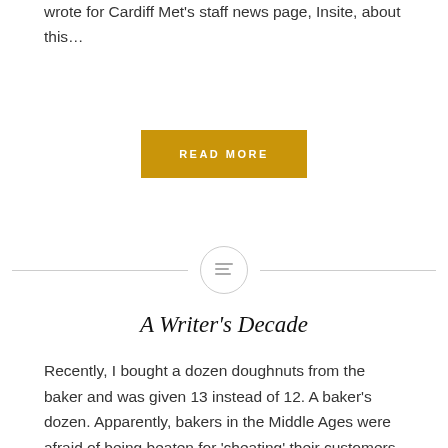wrote for Cardiff Met's staff news page, Insite, about this…
[Figure (other): Gold/amber 'READ MORE' button]
[Figure (other): Horizontal divider with centered circle icon containing three horizontal lines]
A Writer's Decade
Recently, I bought a dozen doughnuts from the baker and was given 13 instead of 12. A baker's dozen. Apparently, bakers in the Middle Ages were afraid of being beaten for 'cheating' their customers out of bread. Strict punishments would be handed down to any